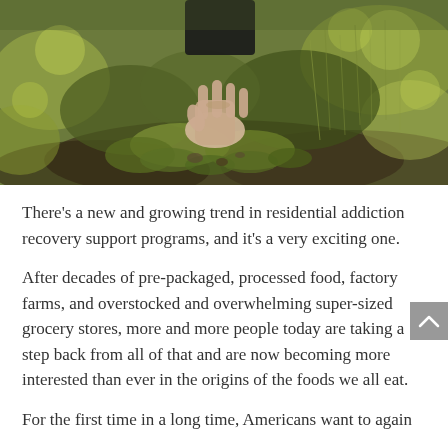[Figure (photo): Close-up photo of a person's hand touching green moss and plants on the ground]
There's a new and growing trend in residential addiction recovery support programs, and it's a very exciting one.
After decades of pre-packaged, processed food, factory farms, and overstocked and overwhelming super-sized grocery stores, more and more people today are taking a step back from all of that and are now becoming more interested than ever in the origins of the foods we all eat.
For the first time in a long time, Americans want to again